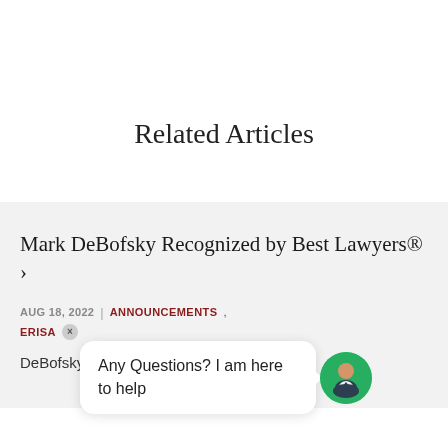Related Articles
Mark DeBofsky Recognized by Best Lawyers® ›
AUG 18, 2022 | ANNOUNCEMENTS, ERISA
DeBofsky
[Figure (illustration): Chat assistant bubble with text 'Any Questions? I am here to help' and a round avatar icon of a person in a suit with green circle background]